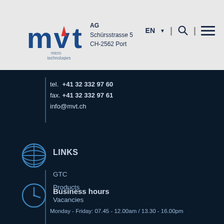MVT AG  Schürsstrasse 5  CH-2562 Port  | EN | Search | Menu
tel.  +41 32 332 97 60
fax. +41 32 332 97 61
info@mvt.ch
LINKS
GTC
Products
Vacancies
Business hours
Monday - Friday: 07.45 - 12.00am / 13.30 - 16.00pm